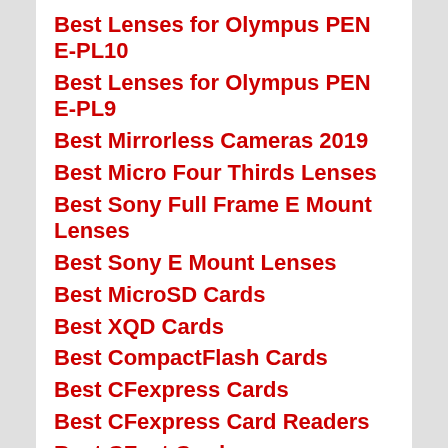Best Lenses for Olympus PEN E-PL10
Best Lenses for Olympus PEN E-PL9
Best Mirrorless Cameras 2019
Best Micro Four Thirds Lenses
Best Sony Full Frame E Mount Lenses
Best Sony E Mount Lenses
Best MicroSD Cards
Best XQD Cards
Best CompactFlash Cards
Best CFexpress Cards
Best CFexpress Card Readers
Best CFast Cards
Best CFast Card Readers